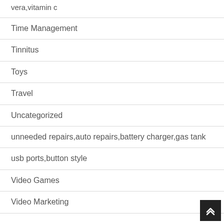vera,vitamin c
Time Management
Tinnitus
Toys
Travel
Uncategorized
unneeded repairs,auto repairs,battery charger,gas tank
usb ports,button style
Video Games
Video Marketing